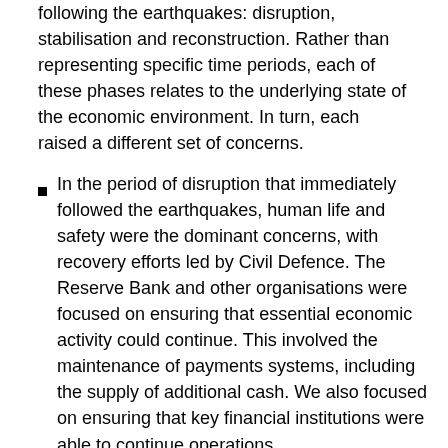following the earthquakes: disruption, stabilisation and reconstruction. Rather than representing specific time periods, each of these phases relates to the underlying state of the economic environment. In turn, each raised a different set of concerns.
In the period of disruption that immediately followed the earthquakes, human life and safety were the dominant concerns, with recovery efforts led by Civil Defence. The Reserve Bank and other organisations were focused on ensuring that essential economic activity could continue. This involved the maintenance of payments systems, including the supply of additional cash. We also focused on ensuring that key financial institutions were able to continue operations.
After immediate safety factors were addressed, concerns shifted to ensuring the stability of business